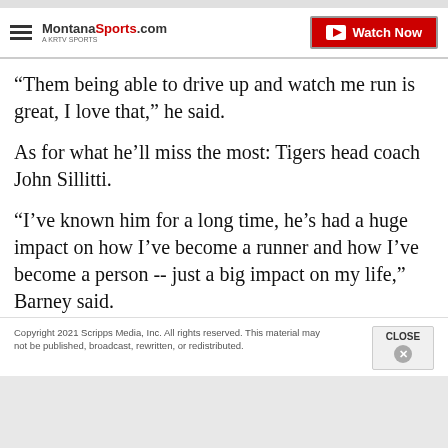MontanaSports.com | Watch Now
“Them being able to drive up and watch me run is great, I love that,” he said.
As for what he’ll miss the most: Tigers head coach John Sillitti.
“I’ve known him for a long time, he’s had a huge impact on how I’ve become a runner and how I’ve become a person -- just a big impact on my life,” Barney said.
Copyright 2021 Scripps Media, Inc. All rights reserved. This material may not be published, broadcast, rewritten, or redistributed.